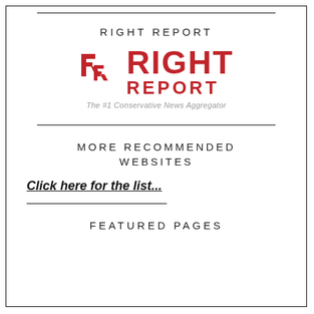RIGHT REPORT
[Figure (logo): Right Report logo: two red interlocking R letters on the left, with 'RIGHT REPORT' text in bold red on the right, and tagline 'The #1 Conservative News Aggregator' below in gray italic]
MORE RECOMMENDED WEBSITES
Click here for the list...
FEATURED PAGES